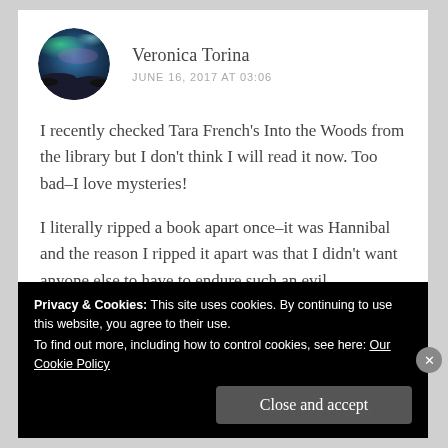[Figure (photo): Circular avatar photo showing northern lights (aurora borealis) over a dark landscape]
Veronica Torina
JUNE 16, 2017 AT 03:06
I recently checked Tara French's Into the Woods from the library but I don't think I will read it now. Too bad–I love mysteries!
I literally ripped a book apart once–it was Hannibal and the reason I ripped it apart was that I didn't want anyone else to have to endure such an evil
Privacy & Cookies: This site uses cookies. By continuing to use this website, you agree to their use.
To find out more, including how to control cookies, see here: Our Cookie Policy
Close and accept